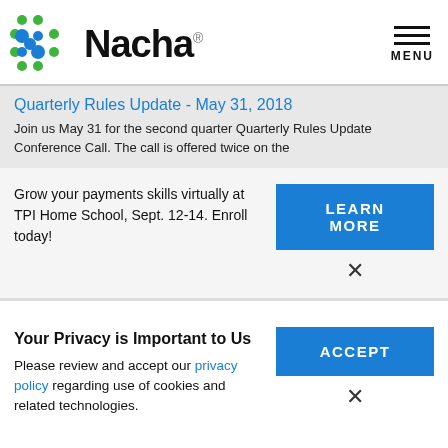[Figure (logo): Nacha logo with colorful dot pattern and bold NACHA wordmark]
Quarterly Rules Update - May 31, 2018
Join us May 31 for the second quarter Quarterly Rules Update Conference Call. The call is offered twice on the
Grow your payments skills virtually at TPI Home School, Sept. 12-14. Enroll today!
LEARN MORE
Your Privacy is Important to Us
Please review and accept our privacy policy regarding use of cookies and related technologies.
ACCEPT